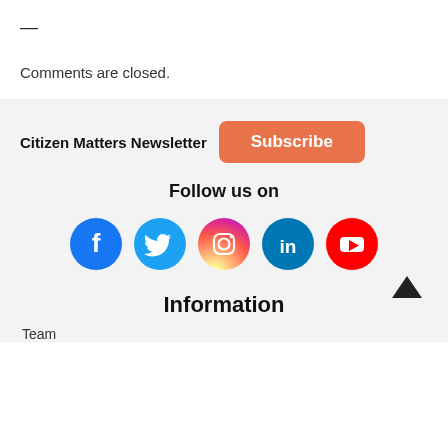—
Comments are closed.
Citizen Matters Newsletter  Subscribe
Follow us on
[Figure (infographic): Social media icons: Facebook (blue), Twitter (light blue), Instagram (pink/red gradient), LinkedIn (dark blue), YouTube (red)]
Information
Team